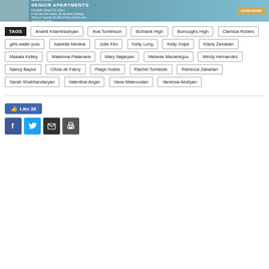[Figure (other): Senra Valley Senior Apartments advertisement banner with teal background, apartment building image, and 'Move-In Special: $1,000 off first month's rent. Restrictions apply.' text with Learn More button.]
TAGS: Anahit Khamtrashyan, Ava Tomlinson, Burbank High, Burroughs High, Clarissa Robles, girls water polo, Isabella Medina, Julie Kim, Kelly Long, Kelly Volpe, Klaris Zarukian, Makala Kelley, Makenna Palamara, Mary Najaryan, Melanie Mazariegos, Mindy Hernandez, Nancy Baylor, Olivia de Fabry, Paige Huleis, Rachel Tomasek, Rebecca Zakarian, Sarah Shabhandaryan, Valentina Angel, Vana Matevosian, Vanessa Abelyan
[Figure (other): Social sharing bar with Like 38 button and Facebook, Twitter, Email, Print share buttons]